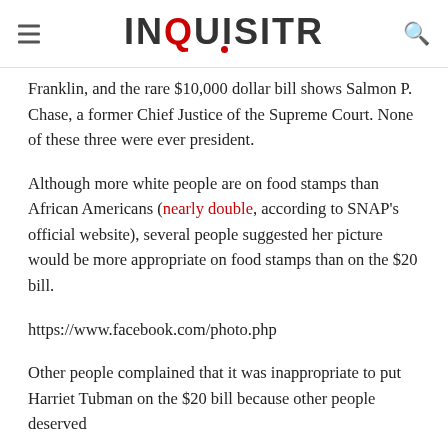INQUISITR
Franklin, and the rare $10,000 dollar bill shows Salmon P. Chase, a former Chief Justice of the Supreme Court. None of these three were ever president.
Although more white people are on food stamps than African Americans (nearly double, according to SNAP’s official website), several people suggested her picture would be more appropriate on food stamps than on the $20 bill.
https://www.facebook.com/photo.php
Other people complained that it was inappropriate to put Harriet Tubman on the $20 bill because other people deserved